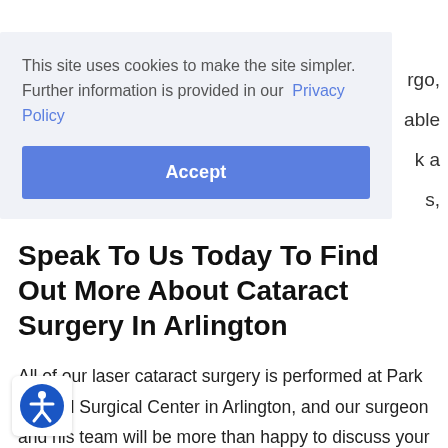rgo, able k a s,
This site uses cookies to make the site simpler. Further information is provided in our Privacy Policy
Accept
Speak To Us Today To Find Out More About Cataract Surgery In Arlington
All of our laser cataract surgery is performed at Park Central Surgical Center in Arlington, and our surgeon and his team will be more than happy to discuss your bility for surgery, as well as address any concerns you may have. Call us today on 214-495-1351 to book
[Figure (other): Accessibility icon - circular blue icon with a person figure in white, bottom left corner]